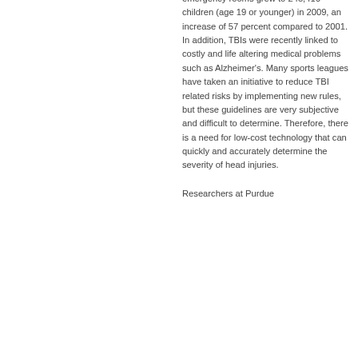emergency rooms grew to 248,416 children (age 19 or younger) in 2009, an increase of 57 percent compared to 2001. In addition, TBIs were recently linked to costly and life altering medical problems such as Alzheimer's. Many sports leagues have taken an initiative to reduce TBI related risks by implementing new rules, but these guidelines are very subjective and difficult to determine. Therefore, there is a need for low-cost technology that can quickly and accurately determine the severity of head injuries.
Researchers at Purdue